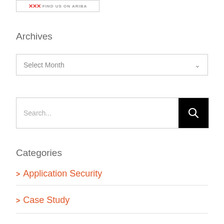[Figure (logo): Ariba 'Find us on Ariba' banner button with red X logo and gray border]
Archives
[Figure (screenshot): Select Month dropdown box with chevron]
[Figure (screenshot): Search input box with black search button and magnifying glass icon]
Categories
> Application Security
> Case Study